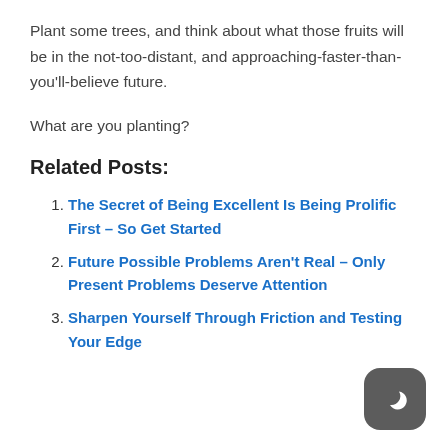Plant some trees, and think about what those fruits will be in the not-too-distant, and approaching-faster-than-you'll-believe future.
What are you planting?
Related Posts:
The Secret of Being Excellent Is Being Prolific First – So Get Started
Future Possible Problems Aren't Real – Only Present Problems Deserve Attention
Sharpen Yourself Through Friction and Testing Your Edge
[Figure (logo): Dark rounded square icon with a crescent moon symbol in white]